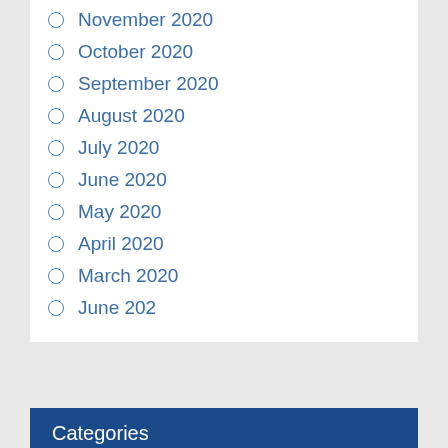November 2020
October 2020
September 2020
August 2020
July 2020
June 2020
May 2020
April 2020
March 2020
June 202
Categories
Anime
Antivirus
Apps